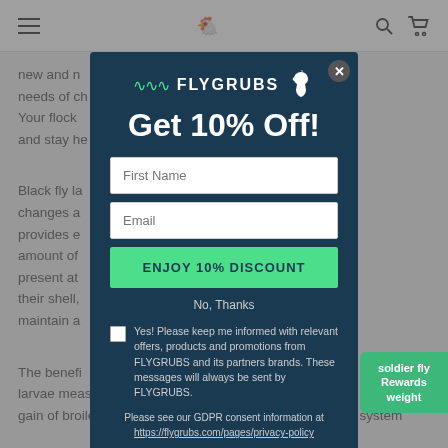Navigation bar with hamburger menu, search, and cart icons
new and n... protein needs of ch... % protein. Your flock ...ystems and stay he...
[Figure (screenshot): FLYGRUBS popup modal offering 10% off with email signup form, GDPR consent checkbox, and privacy policy link]
Black fly la... her changes a... the larvae provides e... t the amount of... ingredients present at... omes from their shell, ... helps maintain a...
The benefi... soldier fly larvae measure scientifically proven to be beneficial in the weight gain of broilers and boost the production of their immune system